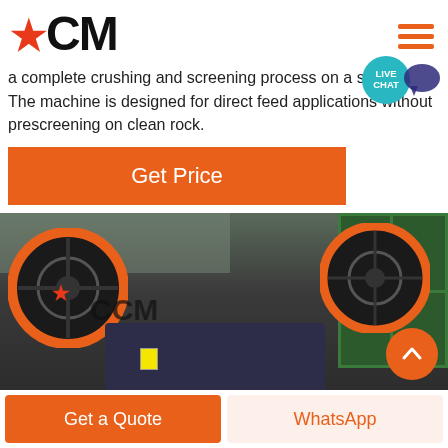[Figure (logo): CCM logo with red star replacing first C, bold black text]
[Figure (infographic): Live chat button - teal circular badge with LIVE CHAT text and speech bubble icon]
a complete crushing and screening process on a single... The machine is designed for direct feed applications without prescreening on clean rock.
[Figure (other): Orange Get Price button]
[Figure (photo): Industrial jaw crusher machine with orange flywheel and CCM branding in a factory/warehouse setting with green framed windows]
[Figure (other): Scroll to top orange circular button with upward arrow]
[Figure (other): Bottom navigation bar with Get a Quote (orange) and WhatsApp (orange text on light) buttons]